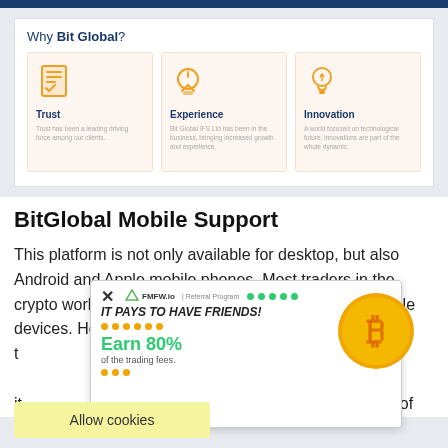Why Bit Global?
[Figure (infographic): Three cards showing Trust, Experience, and Innovation icons with orange icons on light orange background. Trust has a clipboard icon, Experience has a medal icon, Innovation has a lightbulb icon.]
BitGlobal Mobile Support
This platform is not only available for desktop, but also Android and Apple mobile phones. Most traders in the crypto world today carry out their trades with their mobile devices. However, the platform also gives traders an option to do it from a desktop. BitGlobal is one of
[Figure (screenshot): FMFW.io referral program popup ad saying IT PAYS TO HAVE FRIENDS! Earn 80% of the trading fees. With green dots, orange dots, and a Bitcoin coin image.]
Allow cookies